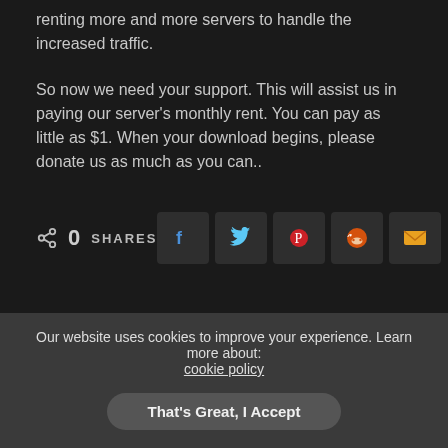renting more and more servers to handle the increased traffic.
So now we need your support. This will assist us in paying our server's monthly rent. You can pay as little as $1. When your download begins, please donate us as much as you can..
0 SHARES
[Figure (other): Social share buttons: Facebook, Twitter, Pinterest, Reddit, Email]
[Figure (other): User avatar circle with silhouette icon]
admin
Our website uses cookies to improve your experience. Learn more about: cookie policy
That's Great, I Accept